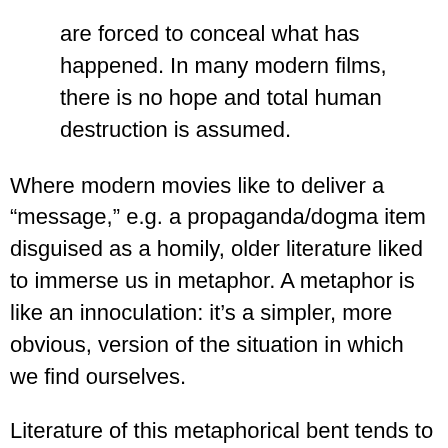are forced to conceal what has happened. In many modern films, there is no hope and total human destruction is assumed.
Where modern movies like to deliver a “message,” e.g. a propaganda/dogma item disguised as a homily, older literature liked to immerse us in metaphor. A metaphor is like an innoculation: it’s a simpler, more obvious, version of the situation in which we find ourselves.
Literature of this metaphorical bent tends to